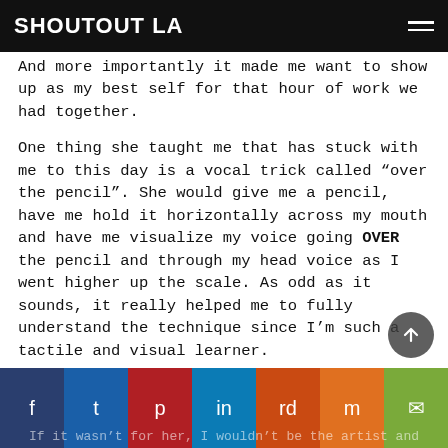SHOUTOUT LA
And more importantly it made me want to show up as my best self for that hour of work we had together.
One thing she taught me that has stuck with me to this day is a vocal trick called “over the pencil”. She would give me a pencil, have me hold it horizontally across my mouth and have me visualize my voice going OVER the pencil and through my head voice as I went higher up the scale. As odd as it sounds, it really helped me to fully understand the technique since I’m such a tactile and visual learner.
If it wasn’t for her, I wouldn’t be the artist and